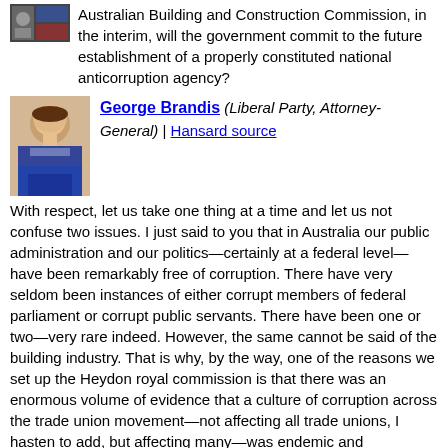Australian Building and Construction Commission, in the interim, will the government commit to the future establishment of a properly constituted national anticorruption agency?
George Brandis (Liberal Party, Attorney-General) | Hansard source
With respect, let us take one thing at a time and let us not confuse two issues. I just said to you that in Australia our public administration and our politics—certainly at a federal level—have been remarkably free of corruption. There have very seldom been instances of either corrupt members of federal parliament or corrupt public servants. There have been one or two—very rare indeed. However, the same cannot be said of the building industry. That is why, by the way, one of the reasons we set up the Heydon royal commission is that there was an enormous volume of evidence that a culture of corruption across the trade union movement—not affecting all trade unions, I hasten to add, but affecting many—was endemic and widespread, and that is exactly what the royal commissioner found on the basis of uncontroverted evidence, admissions and confessions.
2:26 pm
David Johnston (Liberal Party) | Hansard source
My question is to the Minister for Employment, Senator Cash. Can the minister inform the Senate of any benefits that an improved culture in the